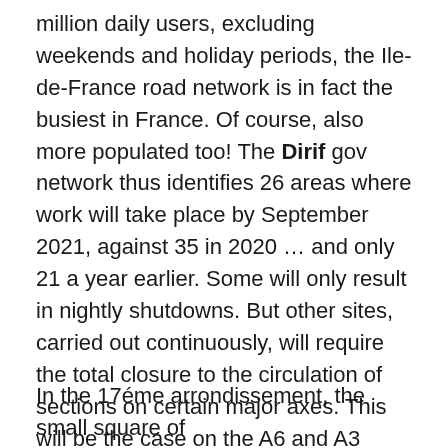million daily users, excluding weekends and holiday periods, the Ile-de-France road network is in fact the busiest in France. Of course, also more populated too! The Dirif gov network thus identifies 26 areas where work will take place by September 2021, against 35 in 2020 … and only 21 a year earlier. Some will only result in nightly shutdowns. But other sites, carried out continuously, will require the total closure to the circulation of sections on certain major axes. This will be the case on the A6 and A3 highways in Essonne (91)  and Seine-Saint-Denis (93), the national 10 in Trappes (Yvelines 78) or the national 104 closed throughout the Mesnil-Amelot (Seine-et-Marne 77) crossing. to allow the construction of the eastern bypass of Roissy CDG airport. Yes catch up or we will be needing helicopter pads soon!!
In the 17éme arrondissement, the small square of